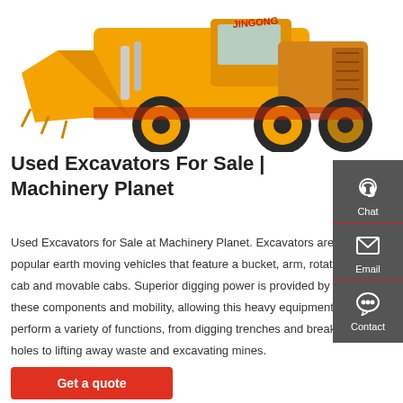[Figure (photo): Yellow JINGONG wheel loader / excavator on white background]
Used Excavators For Sale | Machinery Planet
Used Excavators for Sale at Machinery Planet. Excavators are popular earth moving vehicles that feature a bucket, arm, rotating cab and movable cabs. Superior digging power is provided by these components and mobility, allowing this heavy equipment to perform a variety of functions, from digging trenches and breaking holes to lifting away waste and excavating mines.
Get a quote